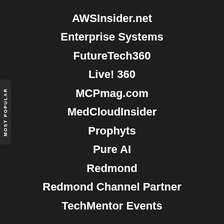AWSInsider.net
Enterprise Systems
FutureTech360
Live! 360
MCPmag.com
MedCloudInsider
Prophyts
Pure AI
Redmond
Redmond Channel Partner
TechMentor Events